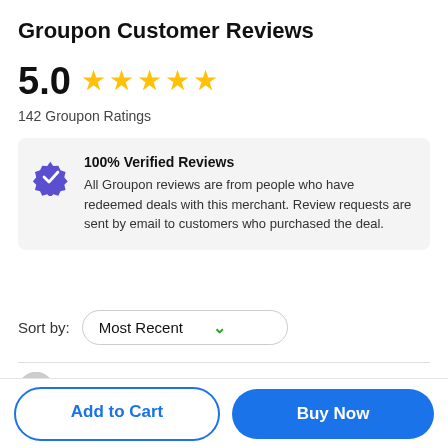Groupon Customer Reviews
5.0 ★★★★★ 142 Groupon Ratings
100% Verified Reviews
All Groupon reviews are from people who have redeemed deals with this merchant. Review requests are sent by email to customers who purchased the deal.
Sort by: Most Recent
Marcelina · Top Reviewer